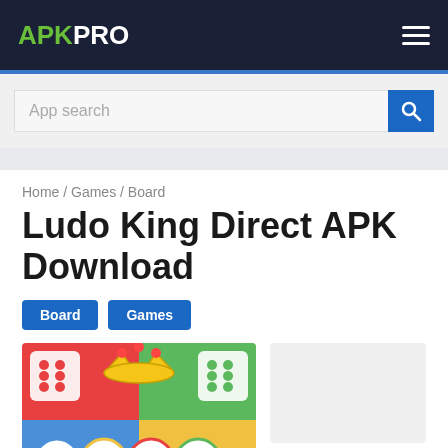APKPRO
App search
Home / Games / Board
Ludo King Direct APK Download
Board
Games
[Figure (photo): Ludo King app icon showing colorful game logo with crown and dice]